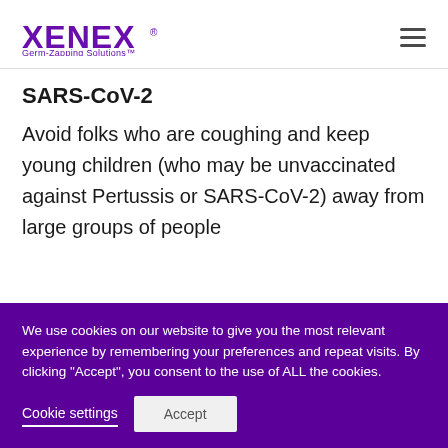[Figure (logo): XENEX Germ-Zapping Solutions logo in purple with registered trademark symbol]
SARS-CoV-2
Avoid folks who are coughing and keep young children (who may be unvaccinated against Pertussis or SARS-CoV-2) away from large groups of people
We use cookies on our website to give you the most relevant experience by remembering your preferences and repeat visits. By clicking "Accept", you consent to the use of ALL the cookies.